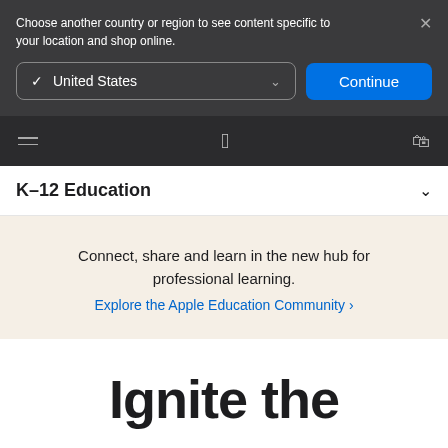Choose another country or region to see content specific to your location and shop online.
[Figure (screenshot): Dropdown selector showing United States with checkmark and chevron]
Continue
[Figure (logo): Apple logo navigation bar with hamburger menu and bag icon]
K–12 Education
Connect, share and learn in the new hub for professional learning.
Explore the Apple Education Community >
Ignite the